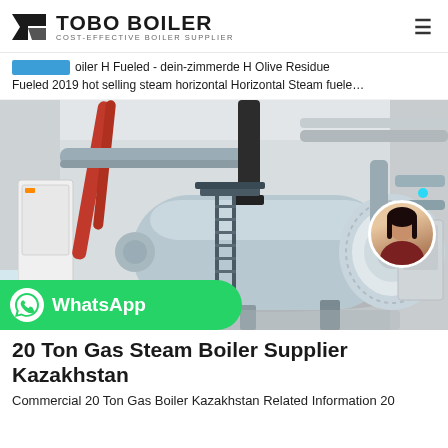TOBO BOILER COST-EFFECTIVE BOILER SUPPLIER
oiler H Fueled - dein-zimmerde H Olive Residue Fueled 2019 hot selling steam horizontal Horizontal Steam fuele…
[Figure (photo): Industrial boiler installation in a facility room. A large horizontal cylindrical blue/grey steam boiler with red and grey pipework, access ladders, and a black exhaust stack. A WhatsApp contact button overlays the bottom-left.]
20 Ton Gas Steam Boiler Supplier Kazakhstan
Commercial 20 Ton Gas Boiler Kazakhstan Related Information 20